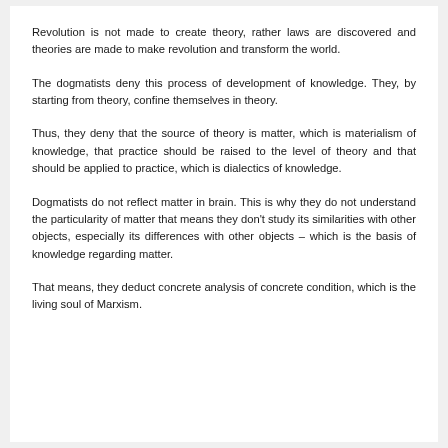Revolution is not made to create theory, rather laws are discovered and theories are made to make revolution and transform the world.
The dogmatists deny this process of development of knowledge. They, by starting from theory, confine themselves in theory.
Thus, they deny that the source of theory is matter, which is materialism of knowledge, that practice should be raised to the level of theory and that should be applied to practice, which is dialectics of knowledge.
Dogmatists do not reflect matter in brain. This is why they do not understand the particularity of matter that means they don't study its similarities with other objects, especially its differences with other objects – which is the basis of knowledge regarding matter.
That means, they deduct concrete analysis of concrete condition, which is the living soul of Marxism.